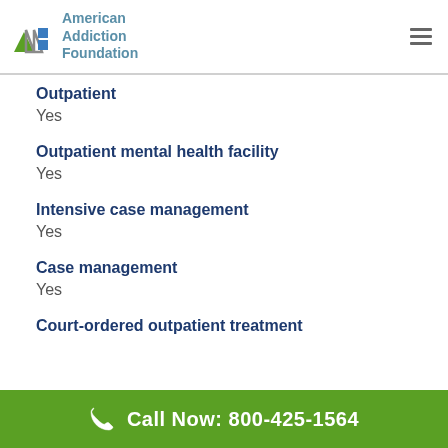American Addiction Foundation
Outpatient
Yes
Outpatient mental health facility
Yes
Intensive case management
Yes
Case management
Yes
Court-ordered outpatient treatment
Call Now: 800-425-1564